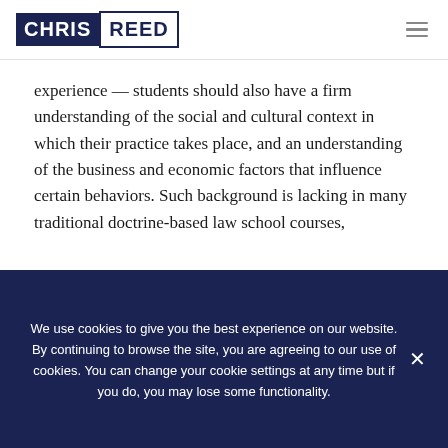CHRIS REED
experience — students should also have a firm understanding of the social and cultural context in which their practice takes place, and an understanding of the business and economic factors that influence certain behaviors. Such background is lacking in many traditional doctrine-based law school courses,
We use cookies to give you the best experience on our website. By continuing to browse the site, you are agreeing to our use of cookies. You can change your cookie settings at any time but if you do, you may lose some functionality.